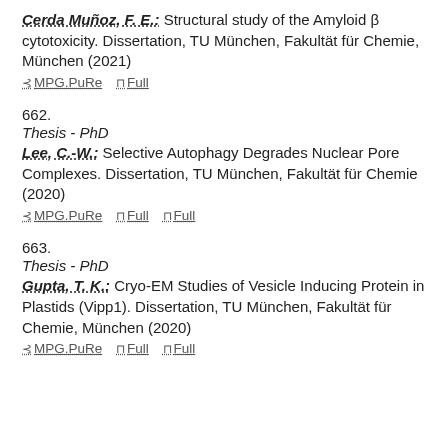Cerda Muñoz, F. E.: Structural study of the Amyloid β cytotoxicity. Dissertation, TU München, Fakultät für Chemie, München (2021)
⊰ MPG.PuRe   ⊓ Full
662.
Thesis - PhD
Lee, C.-W.: Selective Autophagy Degrades Nuclear Pore Complexes. Dissertation, TU München, Fakultät für Chemie (2020)
⊰ MPG.PuRe   ⊓ Full   ⊓ Full
663.
Thesis - PhD
Gupta, T. K.: Cryo-EM Studies of Vesicle Inducing Protein in Plastids (Vipp1). Dissertation, TU München, Fakultät für Chemie, München (2020)
⊰ MPG.PuRe   ⊓ Full   ⊓ Full